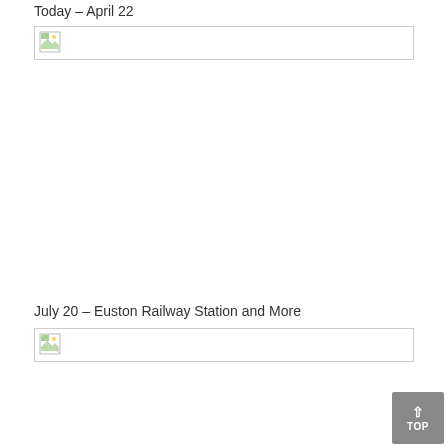Today – April 22
[Figure (photo): Broken/missing image placeholder for Today – April 22 section]
July 20 – Euston Railway Station and More
[Figure (photo): Broken/missing image placeholder for July 20 – Euston Railway Station and More section]